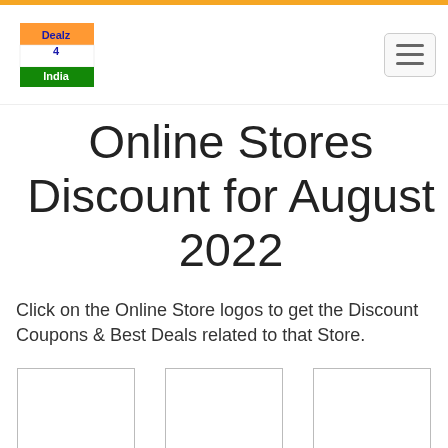[Figure (logo): Dealz4India logo with Indian flag colors]
Online Stores Discount for August 2022
Click on the Online Store logos to get the Discount Coupons & Best Deals related to that Store.
[Figure (logo): 1mg store logo placeholder box]
1mg
[Figure (logo): 1mgLabs store logo placeholder box]
1mgLabs
[Figure (logo): Abof store logo placeholder box]
Abof
[Figure (logo): Airtel store logo placeholder box]
Airtel
[Figure (logo): Ajio store logo placeholder box]
Ajio
[Figure (logo): Akbartravels store logo placeholder box]
Akbartravels